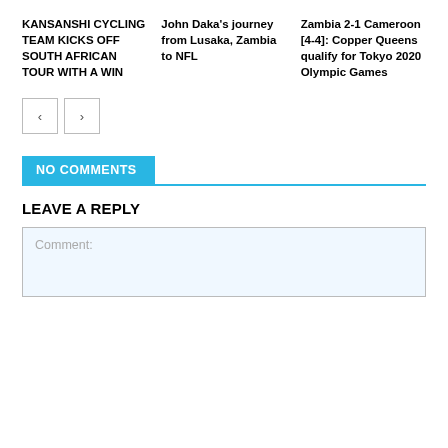KANSANSHI CYCLING TEAM KICKS OFF SOUTH AFRICAN TOUR WITH A WIN
John Daka's journey from Lusaka, Zambia to NFL
Zambia 2-1 Cameroon [4-4]: Copper Queens qualify for Tokyo 2020 Olympic Games
NO COMMENTS
LEAVE A REPLY
Comment: